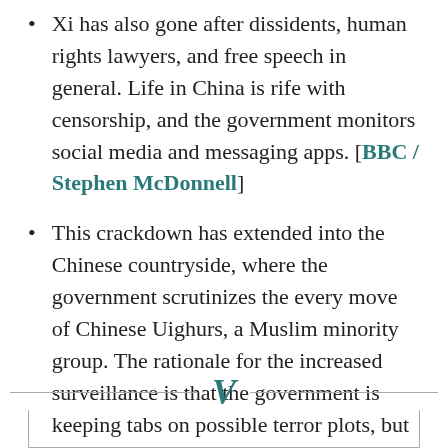Xi has also gone after dissidents, human rights lawyers, and free speech in general. Life in China is rife with censorship, and the government monitors social media and messaging apps. [BBC / Stephen McDonnell]
This crackdown has extended into the Chinese countryside, where the government scrutinizes the every move of Chinese Uighurs, a Muslim minority group. The rationale for the increased surveillance is that the government is keeping tabs on possible terror plots, but people in the region say police monitor every aspect of their lives and throw them in jail for minor offenses. [BuzzFeed / Megha Rajagopalan]
[Figure (logo): Large italic V logo in teal/dark cyan color, flanked by horizontal divider lines]